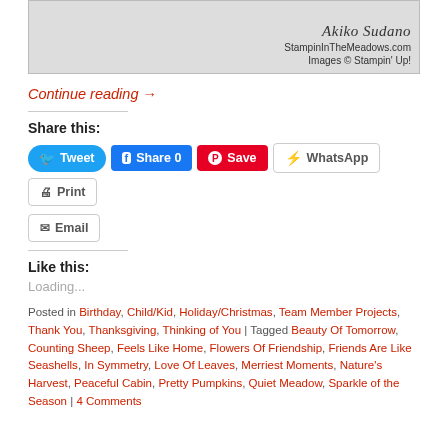[Figure (photo): Bottom portion of a crafting/stamping card image with watermark text: 'Akiko Sudano', 'StampinInTheMeadows.com', 'Images © Stampin' Up!']
Continue reading →
Share this:
Tweet | Share 0 | Save | WhatsApp | Print | Email
Like this:
Loading...
Posted in Birthday, Child/Kid, Holiday/Christmas, Team Member Projects, Thank You, Thanksgiving, Thinking of You | Tagged Beauty Of Tomorrow, Counting Sheep, Feels Like Home, Flowers Of Friendship, Friends Are Like Seashells, In Symmetry, Love Of Leaves, Merriest Moments, Nature's Harvest, Peaceful Cabin, Pretty Pumpkins, Quiet Meadow, Sparkle of the Season | 4 Comments